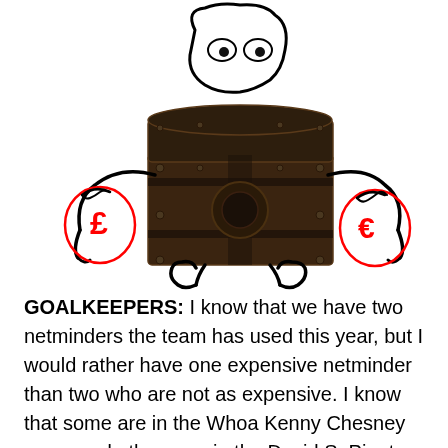[Figure (illustration): A cartoon character made from a treasure chest body, with a white blob head with circular eyes, stick arms holding money bags (one with a pound sign £ and one with a euro sign €, both drawn in red), and stick legs. The drawing style is a mix of a real photo of a wooden treasure chest with hand-drawn black outlines for the head, arms, hands, legs, and red-drawn money bags.]
GOALKEEPERS: I know that we have two netminders the team has used this year, but I would rather have one expensive netminder than two who are not as expensive. I know that some are in the Whoa Kenny Chesney camp and others are in the David S. Pinot